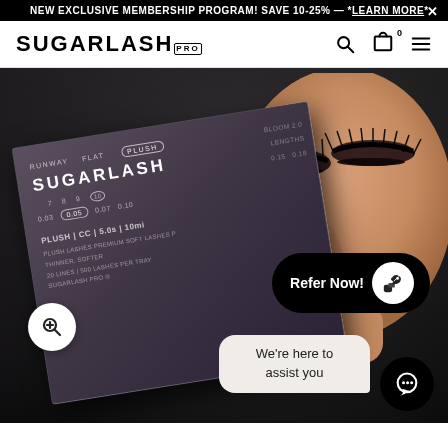NEW EXCLUSIVE MEMBERSHIP PROGRAM! SAVE 10-25% — *LEARN MORE*
[Figure (logo): SUGARLASH PRO logo with superscript PRO badge]
[Figure (photo): Hero image: Sugarlash Pro product box (lash extensions tray) tilted on dark satin fabric, with a model's face showing dramatic lash extensions in the background. UI overlays include a 'Refer Now!' button, a zoom magnifier button, a 'We're here to assist you' chat bubble, and a chat icon.]